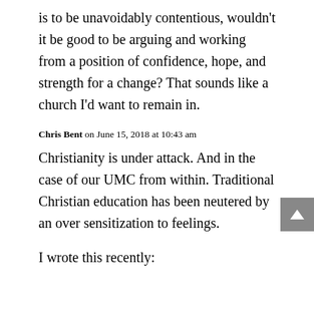is to be unavoidably contentious, wouldn't it be good to be arguing and working from a position of confidence, hope, and strength for a change? That sounds like a church I'd want to remain in.
Chris Bent on June 15, 2018 at 10:43 am
Christianity is under attack. And in the case of our UMC from within. Traditional Christian education has been neutered by an over sensitization to feelings.
I wrote this recently: